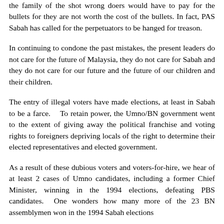the family of the shot wrong doers would have to pay for the bullets for they are not worth the cost of the bullets. In fact, PAS Sabah has called for the perpetuators to be hanged for treason.
In continuing to condone the past mistakes, the present leaders do not care for the future of Malaysia, they do not care for Sabah and they do not care for our future and the future of our children and their children.
The entry of illegal voters have made elections, at least in Sabah to be a farce.   To retain power, the Umno/BN government went to the extent of giving away the political franchise and voting rights to foreigners depriving locals of the right to determine their elected representatives and elected government.
As a result of these dubious voters and voters-for-hire, we hear of at least 2 cases of Umno candidates, including a former Chief Minister, winning in the 1994 elections, defeating PBS candidates.  One wonders how many more of the 23 BN assemblymen won in the 1994 Sabah elections...